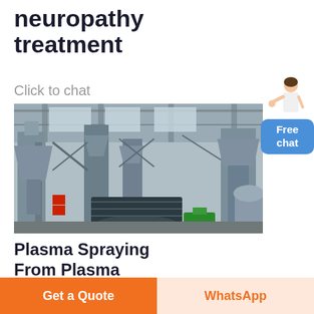neuropathy treatment
Click to chat
[Figure (photo): Industrial facility interior showing large machinery, silos, conveyor systems, and heavy-duty industrial equipment inside a steel-framed warehouse building.]
[Figure (illustration): Chat support widget showing a female customer service representative figure and a blue 'Free chat' button.]
Plasma Spraying From Plasma
Get a Quote
WhatsApp